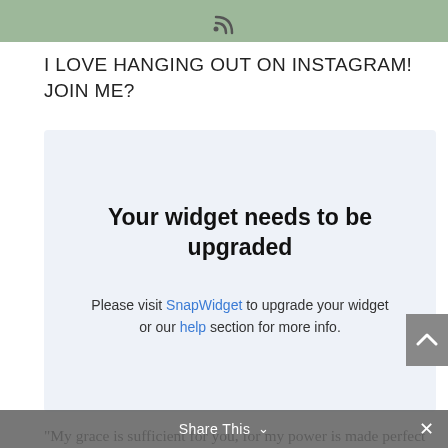[Figure (other): Green banner with RSS/wifi icon at top]
I LOVE HANGING OUT ON INSTAGRAM! JOIN ME?
[Figure (screenshot): Widget upgrade notice box with light blue background reading 'Your widget needs to be upgraded. Please visit SnapWidget to upgrade your widget or our help section for more info.']
“My grace is sufficient for you, for my power is made perfect in weakness.” Therefore I will boast all the more gladly about my weaknesses, so that Christ’s power
Share This ⌄ ×